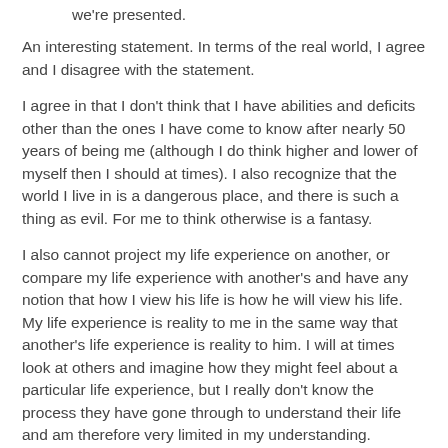We accept the reality of the world with which we're presented.
An interesting statement. In terms of the real world, I agree and I disagree with the statement.
I agree in that I don't think that I have abilities and deficits other than the ones I have come to know after nearly 50 years of being me (although I do think higher and lower of myself then I should at times). I also recognize that the world I live in is a dangerous place, and there is such a thing as evil. For me to think otherwise is a fantasy.
I also cannot project my life experience on another, or compare my life experience with another's and have any notion that how I view his life is how he will view his life. My life experience is reality to me in the same way that another's life experience is reality to him. I will at times look at others and imagine how they might feel about a particular life experience, but I really don't know the process they have gone through to understand their life and am therefore very limited in my understanding.